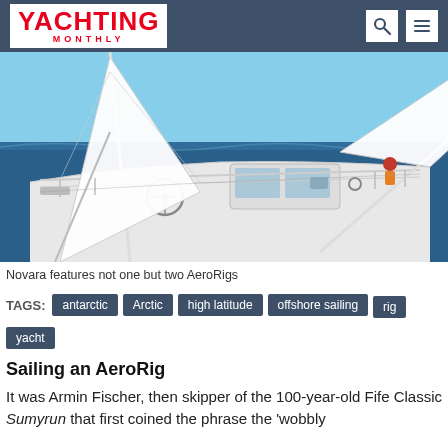YACHTING MONTHLY
[Figure (photo): Aerial view from the deck of a sailing yacht called Novara, showing two AeroRig masts with white sails, blue ocean water, the cockpit area, and a crew member visible near the stern.]
Novara features not one but two AeroRigs
TAGS: antarctic Arctic high latitude offshore sailing rig yacht
Sailing an AeroRig
It was Armin Fischer, then skipper of the 100-year-old Fife Classic Sumyrun that first coined the phrase the 'wobbly